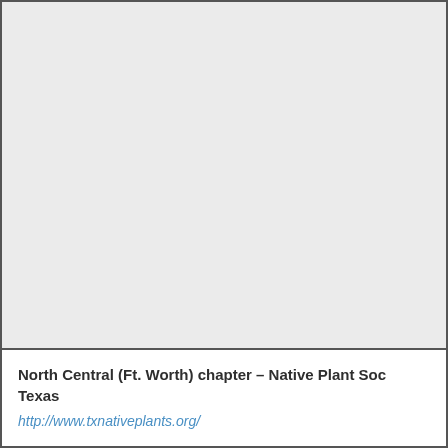[Figure (other): Large blank/empty light gray area representing an image placeholder region]
North Central (Ft. Worth) chapter – Native Plant Society of Texas
http://www.txnativeplants.org/